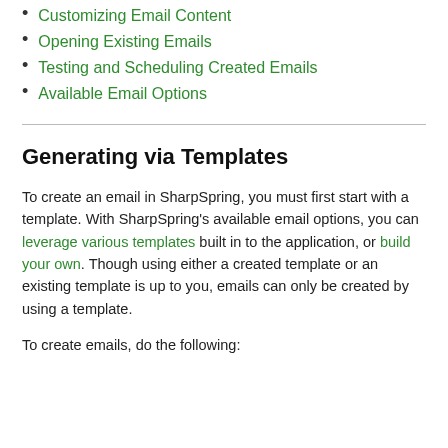Customizing Email Content
Opening Existing Emails
Testing and Scheduling Created Emails
Available Email Options
Generating via Templates
To create an email in SharpSpring, you must first start with a template. With SharpSpring's available email options, you can leverage various templates built in to the application, or build your own. Though using either a created template or an existing template is up to you, emails can only be created by using a template.
To create emails, do the following: